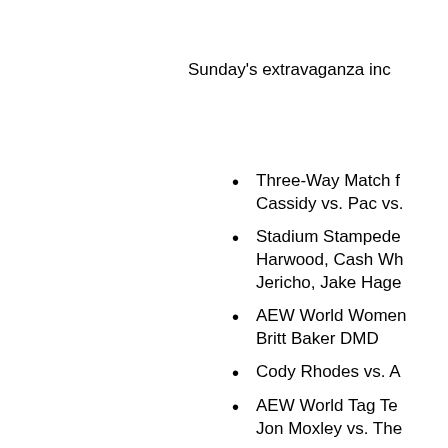Sunday's extravaganza inc
Three-Way Match f... Cassidy vs. Pac vs.
Stadium Stampede... Harwood, Cash Wh... Jericho, Jake Hage...
AEW World Women... Britt Baker DMD
Cody Rhodes vs. A...
AEW World Tag Te... Jon Moxley vs. The...
TNT Championship...
Casino Battle Roya...